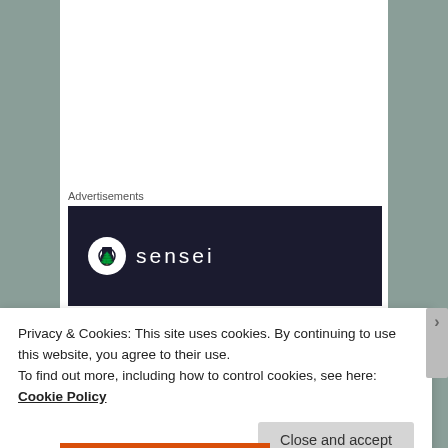Advertisements
[Figure (logo): Sensei advertisement banner — dark navy background with white circle logo containing a tree icon and the word 'sensei' in white letters]
[Figure (illustration): Purple avatar icon with diamond/dot pattern border around a white square center]
sandi-lyn nield on 06/04/2015 at 21:54
Privacy & Cookies: This site uses cookies. By continuing to use this website, you agree to their use.
To find out more, including how to control cookies, see here: Cookie Policy
Close and accept